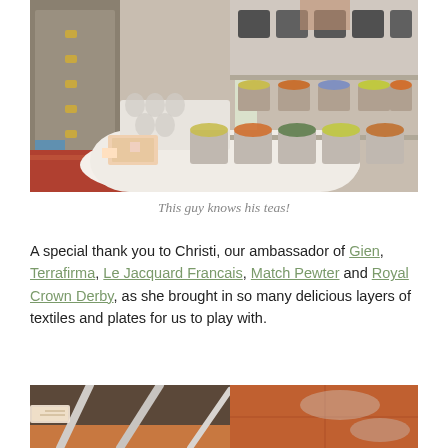[Figure (photo): Photo of a table with tea tins, small glass jars, and colorful cards, with shelves of tea tins in the background and a wooden dresser on the left.]
This guy knows his teas!
A special thank you to Christi, our ambassador of Gien, Terrafirma, Le Jacquard Francais, Match Pewter and Royal Crown Derby, as she brought in so many delicious layers of textiles and plates for us to play with.
[Figure (photo): Close-up photo of metallic utensils and a terracotta-colored surface.]